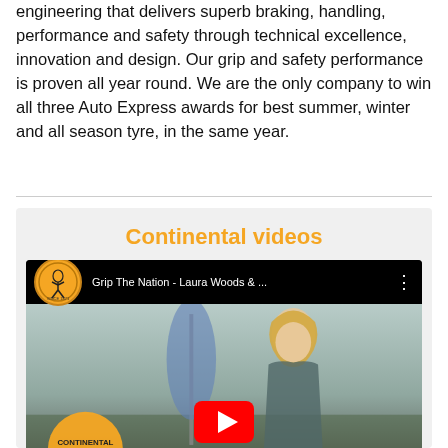engineering that delivers superb braking, handling, performance and safety through technical excellence, innovation and design. Our grip and safety performance is proven all year round. We are the only company to win all three Auto Express awards for best summer, winter and all season tyre, in the same year.
Continental videos
[Figure (screenshot): YouTube video thumbnail showing 'Grip The Nation - Laura Woods & ...' with Continental logo circle, a woman with blonde hair, an orange ball at bottom left, and a YouTube play button]